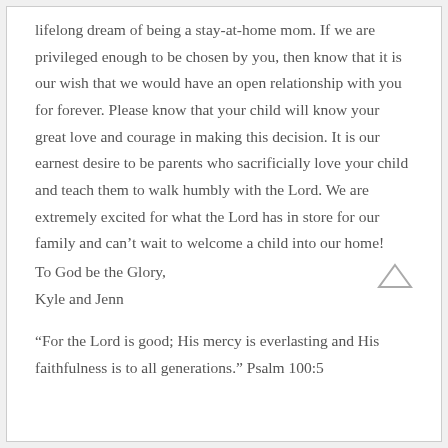lifelong dream of being a stay-at-home mom. If we are privileged enough to be chosen by you, then know that it is our wish that we would have an open relationship with you for forever. Please know that your child will know your great love and courage in making this decision. It is our earnest desire to be parents who sacrificially love your child and teach them to walk humbly with the Lord. We are extremely excited for what the Lord has in store for our family and can't wait to welcome a child into our home!
To God be the Glory,
Kyle and Jenn
“For the Lord is good; His mercy is everlasting and His faithfulness is to all generations.” Psalm 100:5